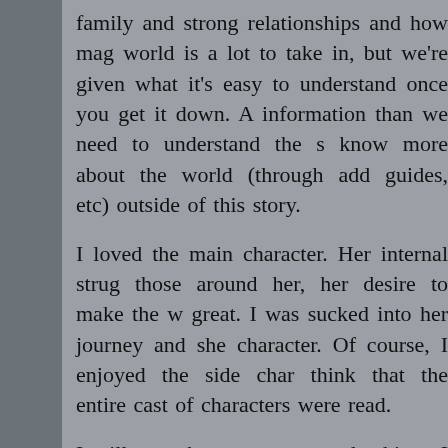family and strong relationships and how mag world is a lot to take in, but we're given what it's easy to understand once you get it down. A information than we need to understand the s know more about the world (through add guides, etc) outside of this story.
I loved the main character. Her internal strug those around her, her desire to make the w great. I was sucked into her journey and she character. Of course, I enjoyed the side char think that the entire cast of characters were read.
I will say, there were a couple things I wished w is that I felt like the story in the second boo for how built up it was. The second, more im found family to be a bigger focus.